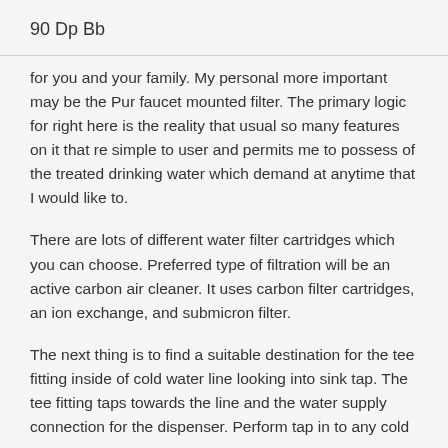90 Dp Bb
for you and your family. My personal more important may be the Pur faucet mounted filter. The primary logic for right here is the reality that usual so many features on it that re simple to user and permits me to possess of the treated drinking water which demand at anytime that I would like to.
There are lots of different water filter cartridges which you can choose. Preferred type of filtration will be an active carbon air cleaner. It uses carbon filter cartridges, an ion exchange, and submicron filter.
The next thing is to find a suitable destination for the tee fitting inside of cold water line looking into sink tap. The tee fitting taps towards the line and the water supply connection for the dispenser. Perform tap in to any cold